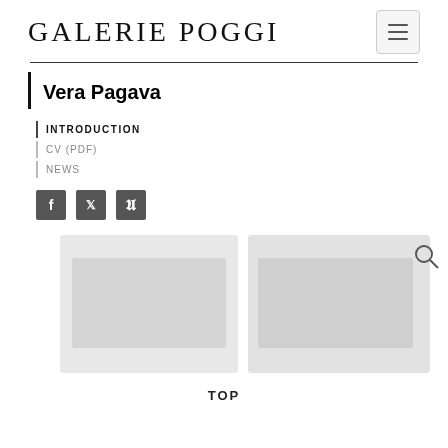GALERIE POGGI
Vera Pagava
INTRODUCTION
CV (PDF)
NEWS
[Figure (other): Social media icons: Facebook, Twitter, Pinterest]
[Figure (other): Gallery image area with two placeholder image panels and a search icon]
TOP